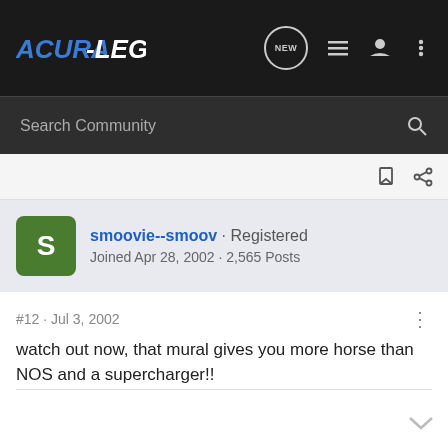Acura-Legend | NEW | Search Community
smoovie--smoov · Registered
Joined Apr 28, 2002 · 2,565 Posts
#12 · Jul 3, 2002
watch out now, that mural gives you more horse than NOS and a supercharger!!